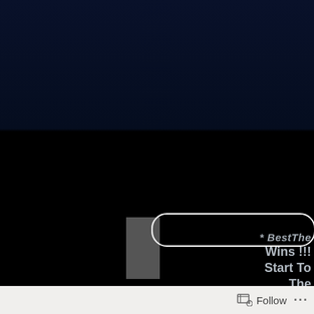[Figure (screenshot): Dark navy/black screenshot background showing a partially visible UI overlay with a white rounded rectangle border, and partially visible text lines: '* BestThe', 'Wins !!!', 'Start To', 'The' in gray-white bold italic font on dark background.]
Follow ...